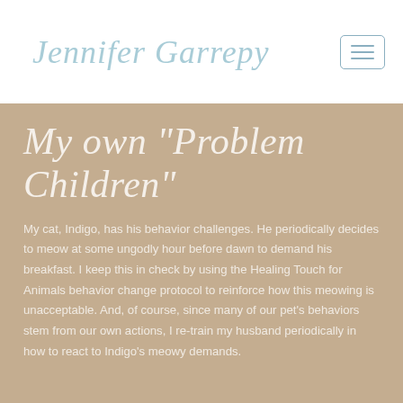Jennifer Garrepy
My own "Problem Children"
My cat, Indigo, has his behavior challenges. He periodically decides to meow at some ungodly hour before dawn to demand his breakfast. I keep this in check by using the Healing Touch for Animals behavior change protocol to reinforce how this meowing is unacceptable. And, of course, since many of our pet's behaviors stem from our own actions, I re-train my husband periodically in how to react to Indigo's meowy demands.